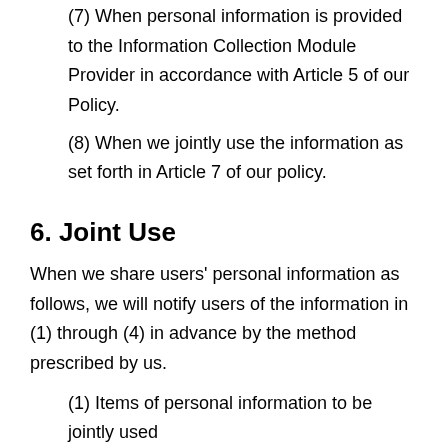(7) When personal information is provided to the Information Collection Module Provider in accordance with Article 5 of our Policy.
(8) When we jointly use the information as set forth in Article 7 of our policy.
6. Joint Use
When we share users' personal information as follows, we will notify users of the information in (1) through (4) in advance by the method prescribed by us.
(1) Items of personal information to be jointly used
(2) Scope of joint users